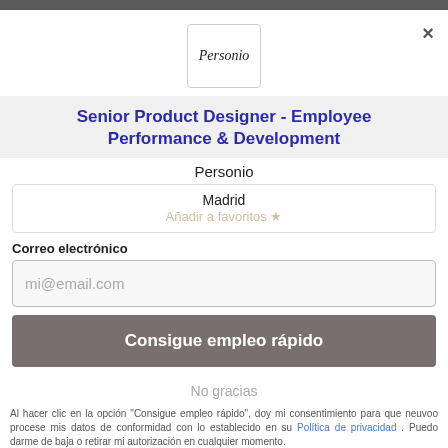[Figure (logo): Personio logo in a bordered white box with cursive/italic text]
Senior Product Designer - Employee Performance & Development
Personio
Madrid
Añadir a favoritos ★
Correo electrónico
mi@email.com
Consigue empleo rápido
No gracias
Al hacer clic en la opción "Consigue empleo rápido", doy mi consentimiento para que neuvoo procese mis datos de conformidad con lo establecido en su Política de privacidad . Puedo darme de baja o retirar mi autorización en cualquier momento.